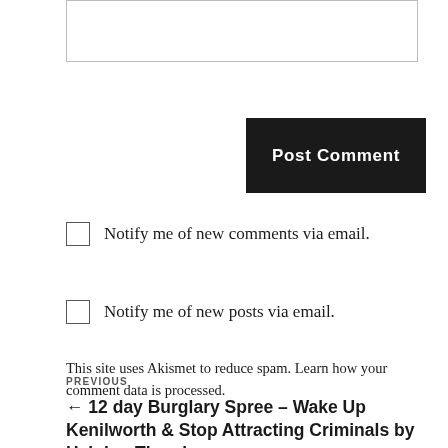[input box]
Post Comment
Notify me of new comments via email.
Notify me of new posts via email.
This site uses Akismet to reduce spam. Learn how your comment data is processed.
PREVIOUS
← 12 day Burglary Spree – Wake Up Kenilworth & Stop Attracting Criminals by Helping Them!